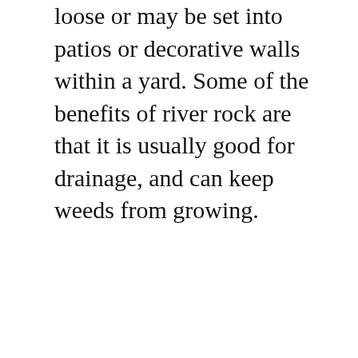loose or may be set into patios or decorative walls within a yard. Some of the benefits of river rock are that it is usually good for drainage, and can keep weeds from growing.